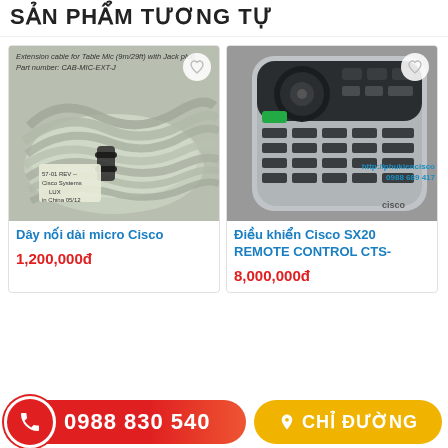SẢN PHẨM TƯƠNG TỰ
[Figure (photo): Extension cable for Table Mic (9m/29ft) with Jack plug, Part number: CAB-MIC-EXT-J. Photo shows coiled grey cables bundled with black cable ties with Cisco Systems label.]
[Figure (photo): Cisco SX20 Remote Control. Photo shows silver and black remote control with circular navigation pad and multiple buttons, with watermark: http://phukiencisco 0988 689 417]
Dây nối dài micro Cisco
Điều khiển Cisco SX20 REMOTE CONTROL CTS-
1,200,000đ
8,000,000đ
0988 830 540
CHỈ ĐƯỜNG